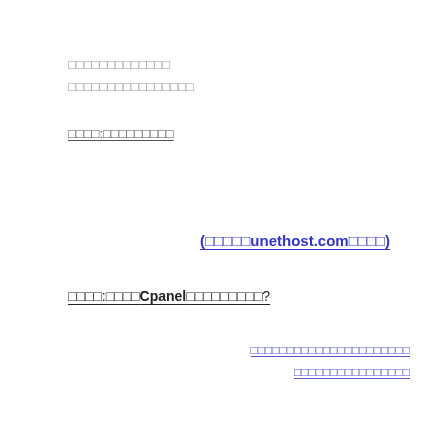□□□□□□□□□□□□□
□□□□□□□□□□□□□□□□
□□□□:□□□□□□□□□
(□□□□□unethost.com□□□□)
□□□□:□□□□Cpanel□□□□□□□□□?
□□□□□□□□□□□□□□□□□□□□□□
□□□□□□□□□□□□□□□□